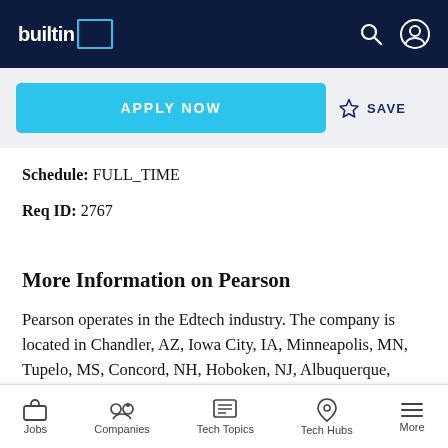builtin
APPLY NOW
SAVE
Schedule: FULL_TIME
Req ID: 2767
More Information on Pearson
Pearson operates in the Edtech industry. The company is located in Chandler, AZ, Iowa City, IA, Minneapolis, MN, Tupelo, MS, Concord, NH, Hoboken, NJ, Albuquerque,
Jobs | Companies | Tech Topics | Tech Hubs | More